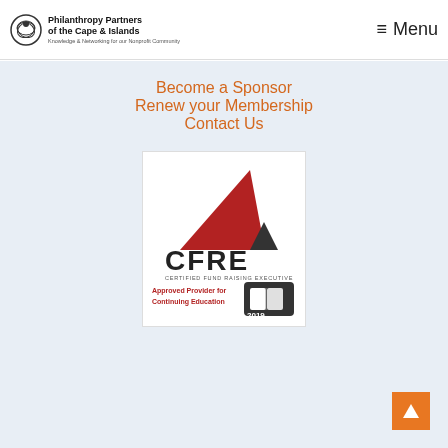Philanthropy Partners of the Cape & Islands — Knowledge & Networking for our Nonprofit Community — Menu
Become a Sponsor
Renew your Membership
Contact Us
[Figure (logo): CFRE Certified Fund Raising Executive — Approved Provider for Continuing Education 2019]